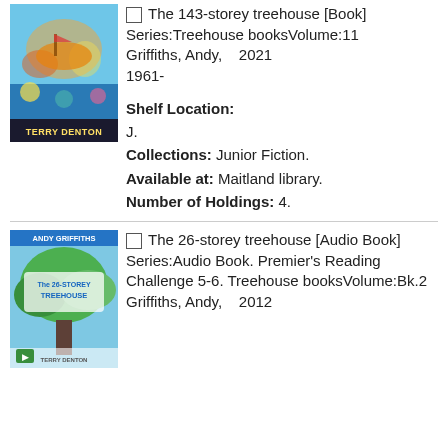[Figure (illustration): Book cover for The 143-storey treehouse, colorful illustration with 'TERRY DENTON' at the bottom on a dark blue/black banner]
The 143-storey treehouse [Book] Series:Treehouse booksVolume:11 Griffiths, Andy, 1961- 2021
Shelf Location: J. Collections: Junior Fiction. Available at: Maitland library. Number of Holdings: 4.
[Figure (illustration): Book cover for The 26-storey treehouse audio book, colorful illustration by Andy Griffiths and Terry Denton showing a treehouse]
The 26-storey treehouse [Audio Book] Series:Audio Book. Premier's Reading Challenge 5-6. Treehouse booksVolume:Bk.2 Griffiths, Andy, 2012